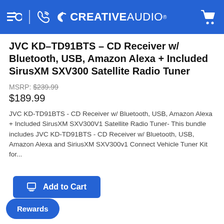CREATIVE AUDIO
JVC KD-TD91BTS - CD Receiver w/ Bluetooth, USB, Amazon Alexa + Included SirusXM SXV300 Satellite Radio Tuner
MSRP: $239.99
$189.99
JVC KD-TD91BTS - CD Receiver w/ Bluetooth, USB, Amazon Alexa + Included SirusXM SXV300V1 Satellite Radio Tuner- This bundle includes JVC KD-TD91BTS - CD Receiver w/ Bluetooth, USB, Amazon Alexa and SiriusXM SXV300v1 Connect Vehicle Tuner Kit for...
Add to Cart
Rewards